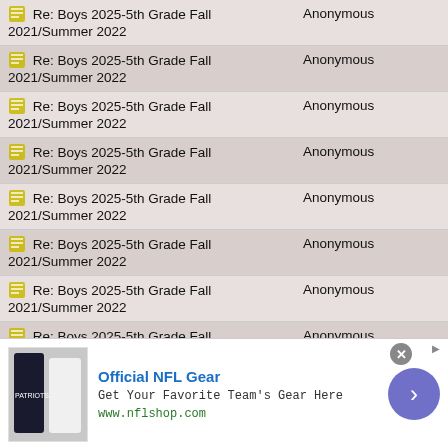| Subject | Author |
| --- | --- |
| [icon] Re: Boys 2025-5th Grade Fall 2021/Summer 2022 | Anonymous |
| [icon] Re: Boys 2025-5th Grade Fall 2021/Summer 2022 | Anonymous |
| [icon] Re: Boys 2025-5th Grade Fall 2021/Summer 2022 | Anonymous |
| [icon] Re: Boys 2025-5th Grade Fall 2021/Summer 2022 | Anonymous |
| [icon] Re: Boys 2025-5th Grade Fall 2021/Summer 2022 | Anonymous |
| [icon] Re: Boys 2025-5th Grade Fall 2021/Summer 2022 | Anonymous |
| [icon] Re: Boys 2025-5th Grade Fall 2021/Summer 2022 | Anonymous |
| [icon] Re: Boys 2025-5th Grade Fall 2021/Summer 2022 | Anonymous |
[Figure (infographic): Advertisement banner for Official NFL Gear with team jersey image, blue title text, description, www.nflshop.com URL, close button, and purple arrow button]